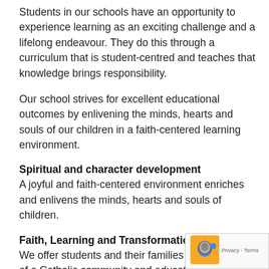Students in our schools have an opportunity to experience learning as an exciting challenge and a lifelong endeavour. They do this through a curriculum that is student-centred and teaches that knowledge brings responsibility.
Our school strives for excellent educational outcomes by enlivening the minds, hearts and souls of our children in a faith-centered learning environment.
Spiritual and character development
A joyful and faith-centered environment enriches and enlivens the minds, hearts and souls of children.
Faith, Learning and Transformation
We offer students and their families the experience of a Catholic community and education focused on faith, learning and transformation in Jesus Christ. Our provides a range of activities that focus on the s and character development of students whilst inviting